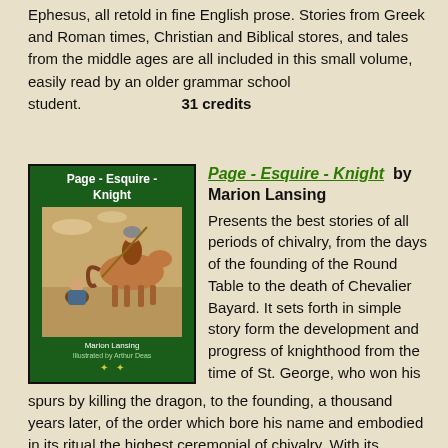Ephesus, all retold in fine English prose. Stories from Greek and Roman times, Christian and Biblical stores, and tales from the middle ages are all included in this small volume, easily read by an older grammar school student. 31 credits
[Figure (illustration): Book cover of 'Page - Esquire - Knight' by Marion Lansing, showing a dark green cover with an illustration of a medieval knight on horseback with a kneeling squire]
Page - Esquire - Knight by Marion Lansing Presents the best stories of all periods of chivalry, from the days of the founding of the Round Table to the death of Chevalier Bayard. It sets forth in simple story form the development and progress of knighthood from the time of St. George, who won his spurs by killing the dragon, to the founding, a thousand years later, of the order which bore his name and embodied in its ritual the highest ceremonial of chivalry. With its explanation of the meaning of the degrees of knighthood, its description of quests and tourneys, and its outline of the great events of chivalry, this volume will serve as a good introduction to the later reading of Arthurian and other romances, and of the history of Charlemagne's wars and the crusades. 58 credits